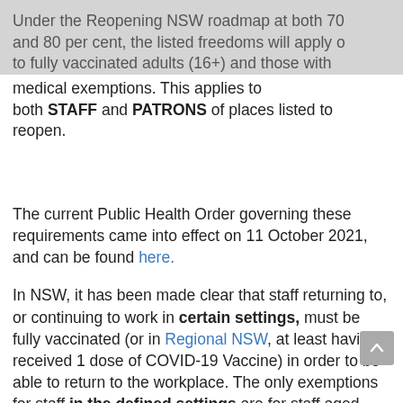Under the Reopening NSW roadmap at both 70 and 80 per cent, the listed freedoms will apply only to fully vaccinated adults (16+) and those with medical exemptions. This applies to both STAFF and PATRONS of places listed to reopen.
The current Public Health Order governing these requirements came into effect on 11 October 2021, and can be found here.
In NSW, it has been made clear that staff returning to, or continuing to work in certain settings, must be fully vaccinated (or in Regional NSW, at least having received 1 dose of COVID-19 Vaccine) in order to be able to return to the workplace. The only exemptions for staff in the defined settings are for staff aged under 16 years of age, or staff with NSW endorsed medical contraindication forms confirming their ineligibility for vaccination.
Please note, these requirements only exist in certain workplaces.